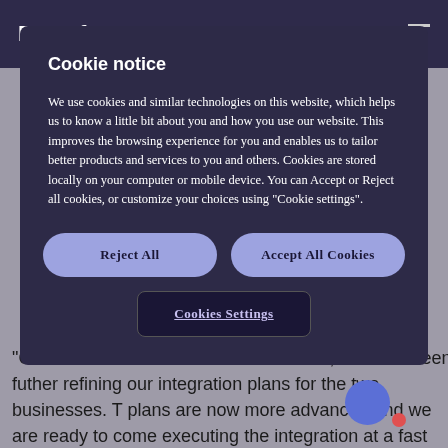Paysafe group
Cookie notice
We use cookies and similar technologies on this website, which helps us to know a little bit about you and how you use our website. This improves the browsing experience for you and enables us to tailor better products and services to you and others. Cookies are stored locally on your computer or mobile device. You can Accept or Reject all cookies, or customize your choices using "Cookie settings".
Reject All
Accept All Cookies
Cookies Settings
"Over the course of the last four months, we have been further refining our integration plans for the two businesses. The plans are now more advanced and we are ready to commence executing the integration at a fast pace.  Our confidence in